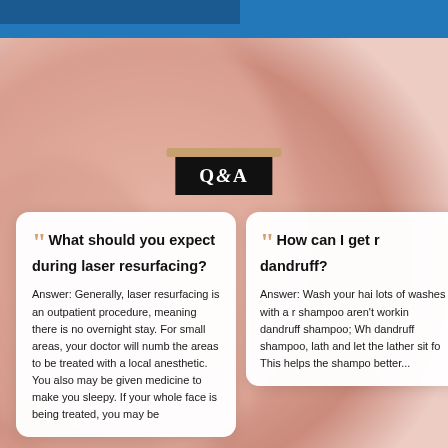[Figure (photo): Top blue header bar with darker blue accent section on the left]
[Figure (photo): Blurred pinkish skin-tone background behind the Q&A cards]
Q&A
What should you expect during laser resurfacing?
Answer: Generally, laser resurfacing is an outpatient procedure, meaning there is no overnight stay. For small areas, your doctor will numb the areas to be treated with a local anesthetic. You also may be given medicine to make you sleepy. If your whole face is being treated, you may be
How can I get r dandruff?
Answer: Wash your hai lots of washes with a r shampoo aren't workin dandruff shampoo; Wh dandruff shampoo, lath and let the lather sit fo This helps the shampo better...